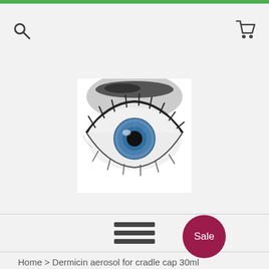[Figure (photo): Close-up black and white photo of a human eye with a blue iris, with eyelashes and eyebrow visible]
[Figure (other): Hamburger menu icon (three horizontal lines)]
Home > Dermicin aerosol for cradle cap 30ml
Sale